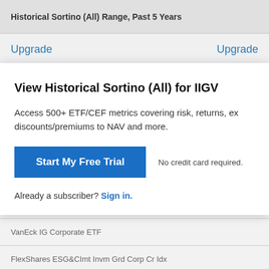Historical Sortino (All) Range, Past 5 Years
Upgrade    Upgrade
View Historical Sortino (All) for IIGV
Access 500+ ETF/CEF metrics covering risk, returns, ex discounts/premiums to NAV and more.
Start My Free Trial    No credit card required.
Already a subscriber? Sign in.
WisdomTree US Corporate Bond
VanEck IG Corporate ETF
FlexShares ESG&CImt Invm Grd Corp Cr Idx